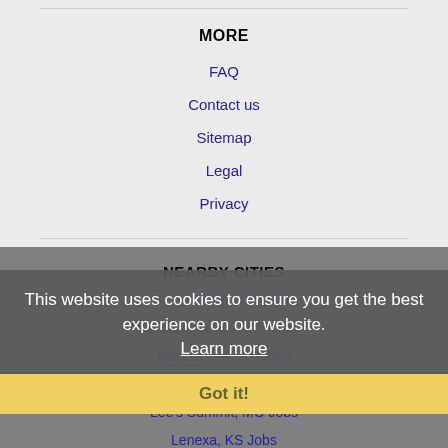MORE
FAQ
Contact us
Sitemap
Legal
Privacy
NEARBY CITIES
Blue Springs, MO Jobs
Independence, MO Jobs
Kansas City, KS Jobs
Lawrence, KS Jobs
Lee's Summit, MO Jobs
Lenexa, KS Jobs
Manhattan, KS Jobs
Overland Park, KS Jobs
This website uses cookies to ensure you get the best experience on our website. Learn more
Got it!